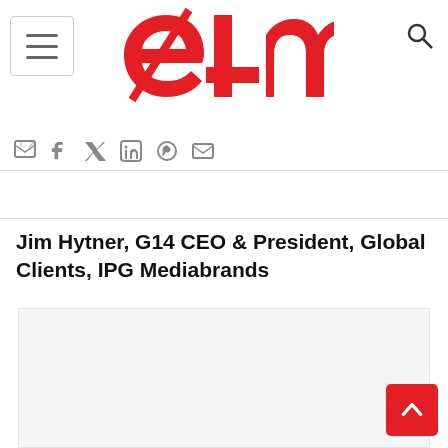[Figure (logo): e4m logo in red stylized lettering]
Jim Hytner, G14 CEO & President, Global Clients, IPG Mediabrands
[Figure (photo): Large image placeholder for Jim Hytner article]